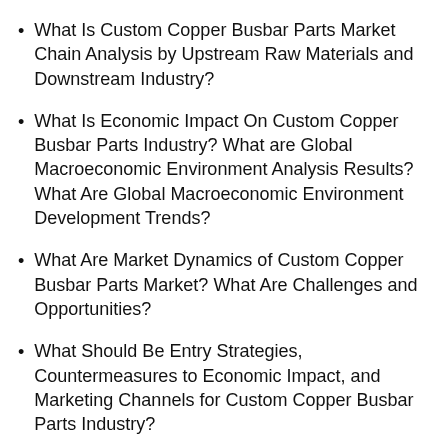What Is Custom Copper Busbar Parts Market Chain Analysis by Upstream Raw Materials and Downstream Industry?
What Is Economic Impact On Custom Copper Busbar Parts Industry? What are Global Macroeconomic Environment Analysis Results? What Are Global Macroeconomic Environment Development Trends?
What Are Market Dynamics of Custom Copper Busbar Parts Market? What Are Challenges and Opportunities?
What Should Be Entry Strategies, Countermeasures to Economic Impact, and Marketing Channels for Custom Copper Busbar Parts Industry?